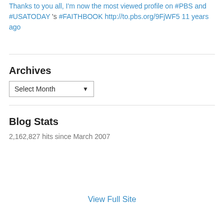Thanks to you all, I'm now the most viewed profile on #PBS and #USATODAY 's #FAITHBOOK http://to.pbs.org/9FjWF5 11 years ago
Archives
Select Month
Blog Stats
2,162,827 hits since March 2007
View Full Site